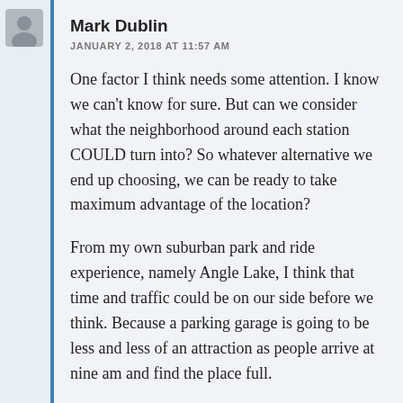Mark Dublin
JANUARY 2, 2018 AT 11:57 AM
One factor I think needs some attention. I know we can't know for sure. But can we consider what the neighborhood around each station COULD turn into? So whatever alternative we end up choosing, we can be ready to take maximum advantage of the location?
From my own suburban park and ride experience, namely Angle Lake, I think that time and traffic could be on our side before we think. Because a parking garage is going to be less and less of an attraction as people arrive at nine am and find the place full.